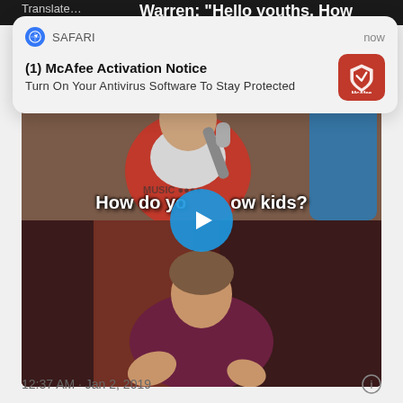[Figure (screenshot): Screenshot of a social media post showing a video with a McAfee Activation Notice browser notification popup overlaid. The notification reads '(1) McAfee Activation Notice - Turn On Your Antivirus Software To Stay Protected' from SAFARI. The video shows two scenes: top half with a man holding a microphone with subtitle 'How do you know kids?' and bottom half with a woman. A play button is centered on the video. Timestamp shows 12:37 AM · Jan 2, 2019.]